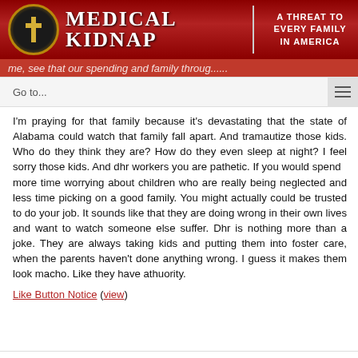Medical Kidnap | A Threat to Every Family in America
I'm praying for that family because it's devastating that the state of Alabama could watch that family fall apart. And tramautize those kids. Who do they think they are? How do they even sleep at night? I feel sorry those kids. And dhr workers you are pathetic. If you would spend  more time worrying about children who are really being neglected and less time picking on a good family. You might actually could be trusted to do your job. It sounds like that they are doing wrong in their own lives and want to watch someone else suffer. Dhr is nothing more than a joke. They are always taking kids and putting them into foster care, when the parents haven't done anything wrong. I guess it makes them look macho. Like they have athuority.
Like Button Notice (view)